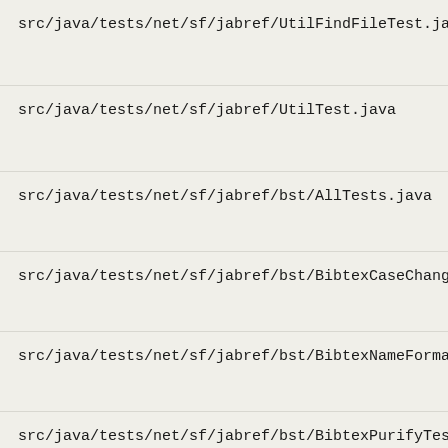src/java/tests/net/sf/jabref/UtilFindFileTest.java
src/java/tests/net/sf/jabref/UtilTest.java
src/java/tests/net/sf/jabref/bst/AllTests.java
src/java/tests/net/sf/jabref/bst/BibtexCaseChangerTest.java
src/java/tests/net/sf/jabref/bst/BibtexNameFormatterTest.java
src/java/tests/net/sf/jabref/bst/BibtexPurifyTest.java